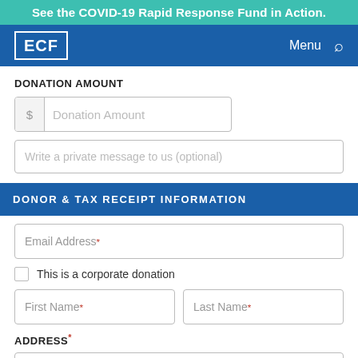See the COVID-19 Rapid Response Fund in Action.
[Figure (logo): ECF logo in white box on blue navigation bar with Menu and search icon]
DONATION AMOUNT
$ Donation Amount
Write a private message to us (optional)
DONOR & TAX RECEIPT INFORMATION
Email Address*
This is a corporate donation
First Name* | Last Name*
ADDRESS*